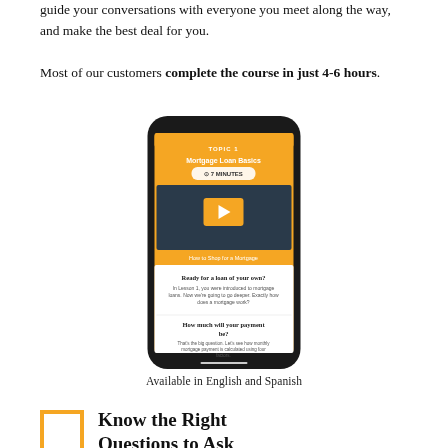guide your conversations with everyone you meet along the way, and make the best deal for you.

Most of our customers complete the course in just 4-6 hours.
[Figure (screenshot): Mobile phone screenshot showing a mortgage loan basics course app. The screen displays 'TOPIC 1', 'Mortgage Loan Basics', a '7 MINUTES' button, a video thumbnail titled 'How to Shop for a Mortgage', lesson text 'Ready for a loan of your own?' and 'How much will your payment be?'. The phone has a dark bezel on an orange/yellow background.]
Available in English and Spanish
Know the Right Questions to Ask